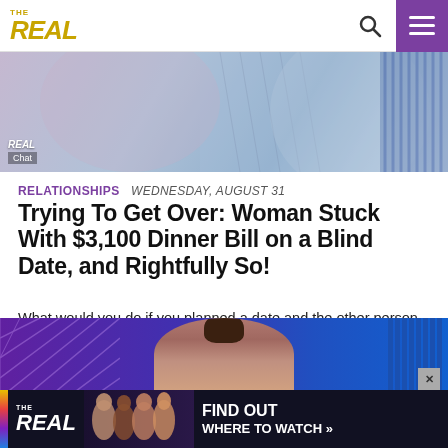THE REAL
[Figure (screenshot): Screenshot of a TV show with two women, appears to be a talk show set. Labels show 'REAL' and 'Chat' overlay.]
RELATIONSHIPS   WEDNESDAY, AUGUST 31
Trying To Get Over: Woman Stuck With $3,100 Dinner Bill on a Blind Date, and Rightfully So!
What would you do if you planned a date and the other person brought along 23 family members?
[Figure (screenshot): Screenshot from The Real talk show with a woman on stage, purple and blue set background. Ad banner overlay at bottom showing 'THE REAL - FIND OUT WHERE TO WATCH'.]